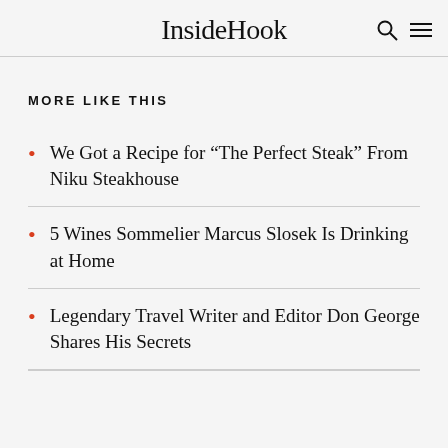InsideHook
MORE LIKE THIS
We Got a Recipe for “The Perfect Steak” From Niku Steakhouse
5 Wines Sommelier Marcus Slosek Is Drinking at Home
Legendary Travel Writer and Editor Don George Shares His Secrets